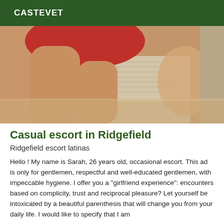CASTEVET
[Figure (photo): Close-up photo of a person wearing red shorts, crouching or kneeling, with a window/blind visible in the background. Warm skin tones dominate the image.]
Casual escort in Ridgefield
Ridgefield escort latinas
Hello ! My name is Sarah, 26 years old, occasional escort. This ad is only for gentlemen, respectful and well-educated gentlemen, with impeccable hygiene. I offer you a "girlfriend experience": encounters based on complicity, trust and reciprocal pleasure? Let yourself be intoxicated by a beautiful parenthesis that will change you from your daily life. I would like to specify that I am